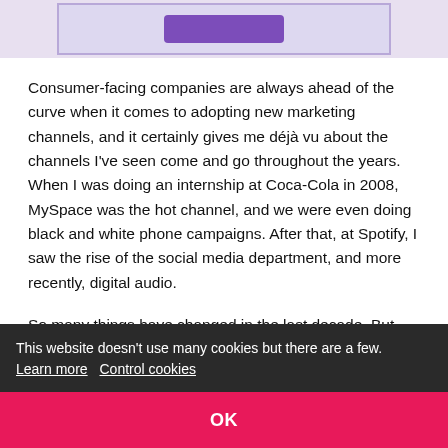[Figure (screenshot): Partial screenshot of a purple-bordered content box with a purple button, shown at the top of the page. Background is light lavender/grey.]
Consumer-facing companies are always ahead of the curve when it comes to adopting new marketing channels, and it certainly gives me déjà vu about the channels I've seen come and go throughout the years. When I was doing an internship at Coca-Cola in 2008, MySpace was the hot channel, and we were even doing black and white phone campaigns. After that, at Spotify, I saw the rise of the social media department, and more recently, digital audio.
So many things have changed in the last decade. But one
n the
is the
biggest expense on company P&Ls — including VC-
This website doesn't use many cookies but there are a few. Learn more  Control cookies
OK